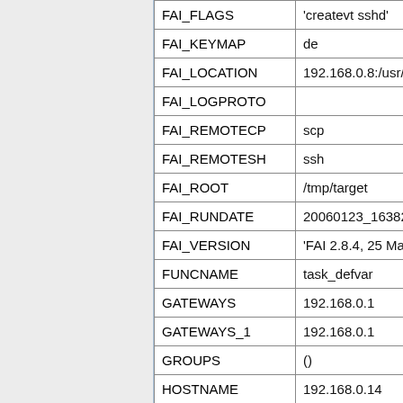| Variable | Value |
| --- | --- |
| FAI_FLAGS | 'createvt sshd' |
| FAI_KEYMAP | de |
| FAI_LOCATION | 192.168.0.8:/usr/sha |
| FAI_LOGPROTO |  |
| FAI_REMOTECP | scp |
| FAI_REMOTESH | ssh |
| FAI_ROOT | /tmp/target |
| FAI_RUNDATE | 20060123_163824 |
| FAI_VERSION | 'FAI 2.8.4, 25 May 2 |
| FUNCNAME | task_defvar |
| GATEWAYS | 192.168.0.1 |
| GATEWAYS_1 | 192.168.0.1 |
| GROUPS | () |
| HOSTNAME | 192.168.0.14 |
| HOSTTYPE | x86_64 |
| IFS | $' \t\n' |